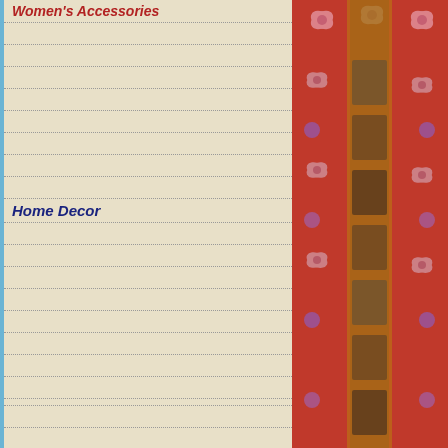Women's Accessories
Kashmiri Sherwani - Long Coat - $150
Beaded Dress - $100
Kantha Saree - $30-100
Ladies Suit - $50
Bra - $25
Jewellery - $100-200
Ladies Purse - $25
Ladies Shoes - $50
Home Decor
Phulkari and Baghs - $100
Cushion Cover - $15-25
Curtains - $30
Handicrafts - $125
Oil Paintings - $125
Indian Paintings - $125
Indian Beaded Tapestries - $125
Kashmiri Carpet - Rug - $1000
Frequently Asked Questions
[Figure (photo): Red embroidered Indian fabric/textile with floral and geometric patterns, decorative border strip in the center]